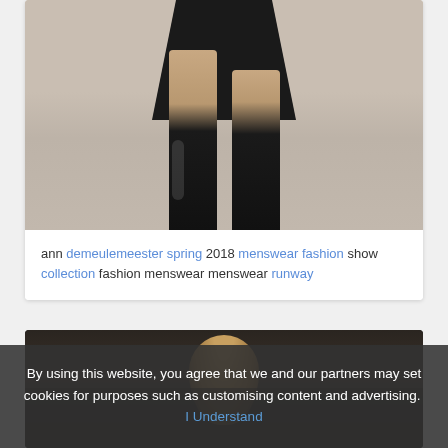[Figure (photo): Fashion runway photo showing model's legs from knees down wearing black knee-high boots and dark patterned skirt/coat, walking on light grey runway floor]
ann demeulemeester spring 2018 menswear fashion show collection fashion menswear menswear runway
[Figure (photo): Dark blurred photo of person with light/auburn hair, appears to be at a fashion show or event, audience visible in background]
By using this website, you agree that we and our partners may set cookies for purposes such as customising content and advertising. I Understand